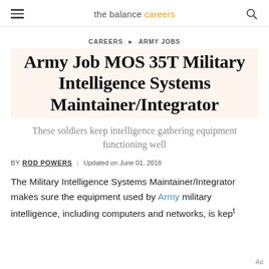the balance careers
CAREERS ▶ ARMY JOBS
Army Job MOS 35T Military Intelligence Systems Maintainer/Integrator
These soldiers keep intelligence gathering equipment functioning well
BY ROD POWERS | Updated on June 01, 2018
The Military Intelligence Systems Maintainer/Integrator makes sure the equipment used by Army military intelligence, including computers and networks, is kept